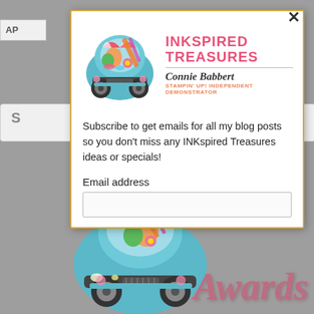[Figure (screenshot): Modal popup on a greyed-out blog page background. Modal contains Inkspired Treasures logo with a blue truck illustration, brand name, Connie Babbert subtitle, Stampin Up Independent Demonstrator tagline, subscription text, and email address input field. Behind modal: partially visible blog UI with search bars and navigation. Bottom of page shows a truck illustration and 'Awards' script text.]
INKSPIRED TREASURES
Connie Babbert
STAMPIN' UP! INDEPENDENT DEMONSTRATOR
Subscribe to get emails for all my blog posts so you don't miss any INKspired Treasures ideas or specials!
Email address